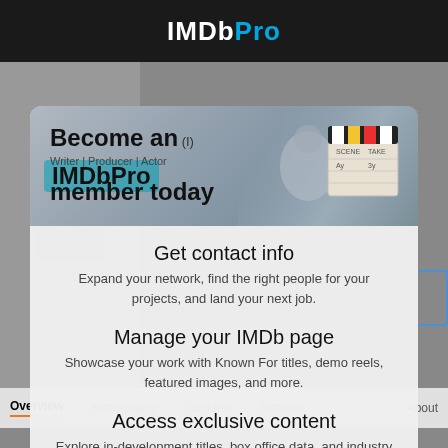IMDbPro
[Figure (screenshot): IMDbPro promotional modal overlay on a website page showing 'Become an IMDbPro member today' banner with clapboard image, navigation bar in background, and three feature sections: Get contact info, Manage your IMDb page, Access exclusive content]
Become an IMDbPro member today
Get contact info
Expand your network, find the right people for your projects, and land your next job.
Manage your IMDb page
Showcase your work with Known For titles, demo reels, featured images, and more.
Access exclusive content
Explore in-development titles, box office data, and industry rankings not available on IMDb.